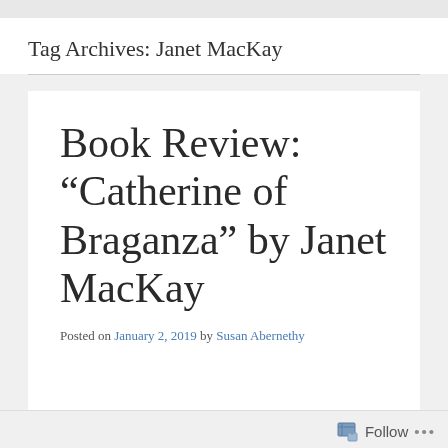Tag Archives: Janet MacKay
Book Review: “Catherine of Braganza” by Janet MacKay
Posted on January 2, 2019 by Susan Abernethy